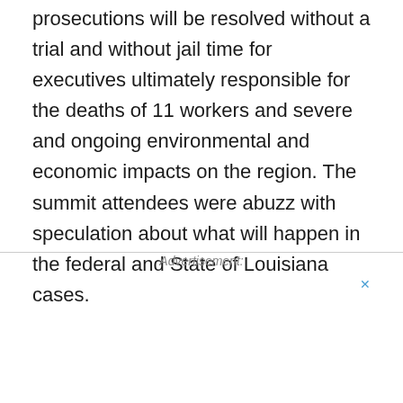prosecutions will be resolved without a trial and without jail time for executives ultimately responsible for the deaths of 11 workers and severe and ongoing environmental and economic impacts on the region. The summit attendees were abuzz with speculation about what will happen in the federal and State of Louisiana cases.
Advertisement:
[Figure (illustration): A cartoon illustration showing a dog in the back seat of a car with a thought bubble saying 'Woof!' while a person in a red shirt drives. The image is framed with a red border.]